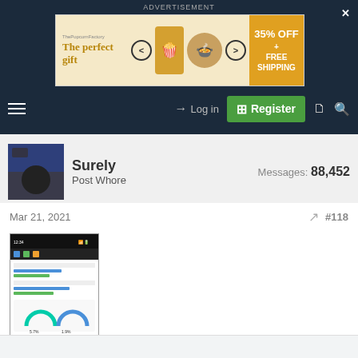ADVERTISEMENT
[Figure (infographic): Advertisement banner: 'The perfect gift' with food bowl image and '35% OFF + FREE SHIPPING' offer]
[Figure (infographic): Navigation bar with hamburger menu, Log in link, Register button, document icon, and search icon]
Surely
Post Whore
Messages: 88,452
Mar 21, 2021
#118
[Figure (screenshot): Screenshot of a mobile app showing data/stats with blue and green bars and gauge charts]
Go f**k yourself nrl